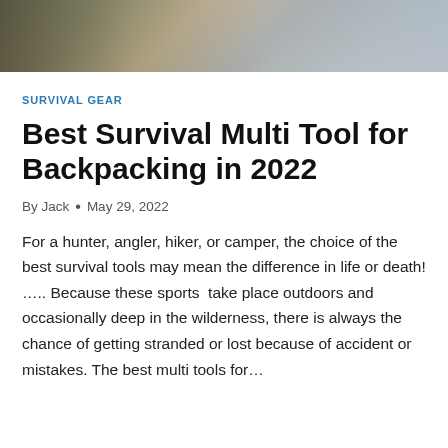[Figure (photo): Hero image showing outdoor/survival gear related scene, appears to show a person with equipment outdoors]
SURVIVAL GEAR
Best Survival Multi Tool for Backpacking in 2022
By Jack • May 29, 2022
For a hunter, angler, hiker, or camper, the choice of the best survival tools may mean the difference in life or death! ….. Because these sports  take place outdoors and occasionally deep in the wilderness, there is always the chance of getting stranded or lost because of accident or mistakes. The best multi tools for…